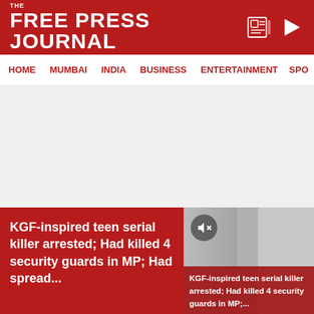THE FREE PRESS JOURNAL
HOME  MUMBAI  INDIA  BUSINESS  ENTERTAINMENT  SPO
[Figure (other): Grey advertisement placeholder area]
Picture for representation | File
ADVERTISEMENT
KGF-inspired teen serial killer arrested; Had killed 4 security guards in MP; Had spread...
[Figure (screenshot): Video thumbnail showing a person, with muted icon and caption: KGF-inspired teen serial killer arrested; Had killed 4 security guards in MP;...]